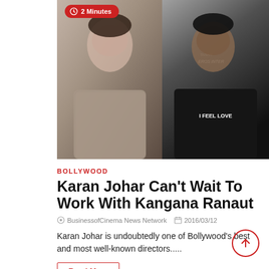[Figure (photo): Two photos side by side: on the left, a woman in a patterned grey jacket; on the right, a man in a black sweatshirt reading 'I FEEL LOVE' at what appears to be an Eros International media event. A red badge with a clock icon reads '2 Minutes' in the upper left of the image area.]
BOLLYWOOD
Karan Johar Can't Wait To Work With Kangana Ranaut
BusinessofCinema News Network   2016/03/12
Karan Johar is undoubtedly one of Bollywood's best and most well-known directors.....
Read More